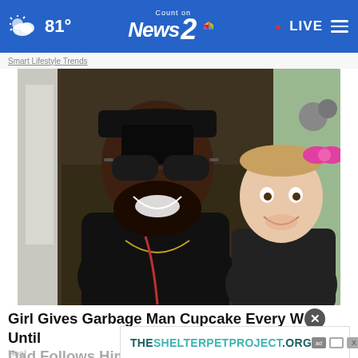81° | Count on News 2 NBC | • LIVE
Smart Lifestyle Trends
[Figure (photo): A smiling man wearing a black cap and sunglasses with a young girl who has a pink bow in her hair, both posing together outdoors]
Girl Gives Garbage Man Cupcake Every W[x]Until Dad Follows Him and Goes Wh...
Heal...
THESHELTERPETPROJECT.ORG